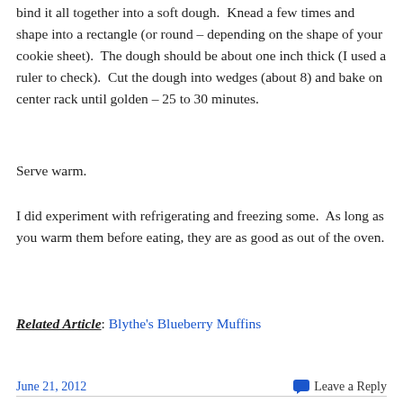bind it all together into a soft dough.  Knead a few times and shape into a rectangle (or round – depending on the shape of your cookie sheet).  The dough should be about one inch thick (I used a ruler to check).  Cut the dough into wedges (about 8) and bake on center rack until golden – 25 to 30 minutes.
Serve warm.
I did experiment with refrigerating and freezing some.  As long as you warm them before eating, they are as good as out of the oven.
Related Article: Blythe's Blueberry Muffins
June 21, 2012   Leave a Reply